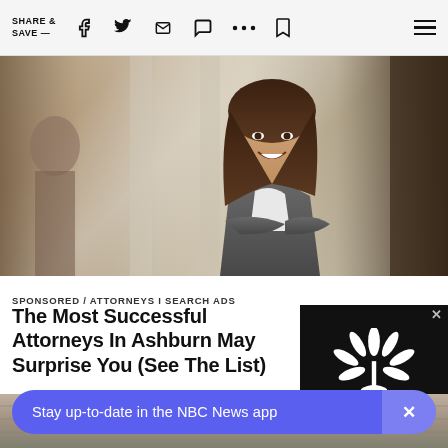SHARE & SAVE —
[Figure (photo): Professional woman in gray blazer with arms crossed, smiling, in a bright office hallway. Another person visible in background.]
SPONSORED / ATTORNEYS I SEARCH ADS
The Most Successful Attorneys In Ashburn May Surprise You (See The List)
[Figure (logo): NBC peacock logo in white on black background with X close button]
[Figure (photo): Bottom strip of outdoor brick building scene]
Stay up-to-date in the NBC News app